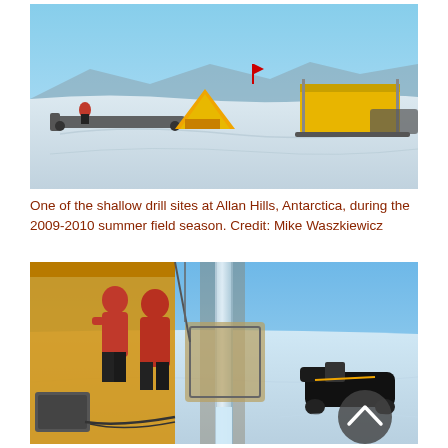[Figure (photo): Wide-angle photo of a shallow drill site at Allan Hills, Antarctica. Shows a snowy, flat landscape with a yellow tent, a snowmobile with a sled, and a large yellow equipment shelter/structure on skis. Mountains visible in the distant background under a blue sky.]
One of the shallow drill sites at Allan Hills, Antarctica, during the 2009-2010 summer field season. Credit: Mike Waszkiewicz
[Figure (photo): Close-up photo at the drill site showing two people in red winter jackets standing next to a yellow shelter/tent. A drill rod/ice core is visible in the foreground extending downward. Drilling equipment is visible. A black snowmobile is parked in the background on the snowy plain. A dark circular back-to-top button with a chevron arrow is overlaid in the bottom-right corner.]